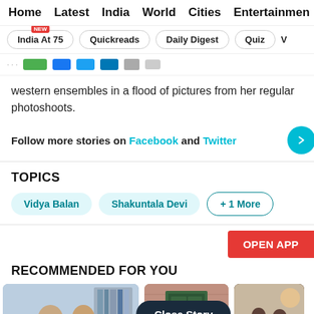Home  Latest  India  World  Cities  Entertainment
India At 75  Quickreads  Daily Digest  Quiz
western ensembles in a flood of pictures from her regular photoshoots.
Follow more stories on Facebook and Twitter
TOPICS
Vidya Balan
Shakuntala Devi
+ 1 More
RECOMMENDED FOR YOU
[Figure (photo): Couple sitting on a couch in conversation]
[Figure (photo): Person at a doorway]
[Figure (photo): People in a room]